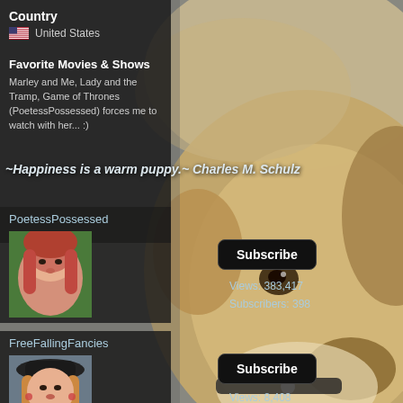[Figure (photo): Background photo of a light golden/tan dog (puppy/young dog) up close, filling most of the right side and bottom of the image. The dog has brown eyes and a black collar.]
Country
United States
Favorite Movies & Shows
Marley and Me, Lady and the Tramp, Game of Thrones (PoetessPossessed) forces me to watch with her... :)
~Happiness is a warm puppy.~ Charles M. Schulz
PoetessPossessed
[Figure (photo): Avatar photo of a woman with long reddish-brown hair, fair skin, against a green background.]
Subscribe
Views: 383,417
Subscribers: 398
FreeFallingFancies
[Figure (photo): Avatar photo of a woman with long blonde/reddish hair wearing a dark hat.]
Subscribe
Views: 8,408
Subscribers: 73